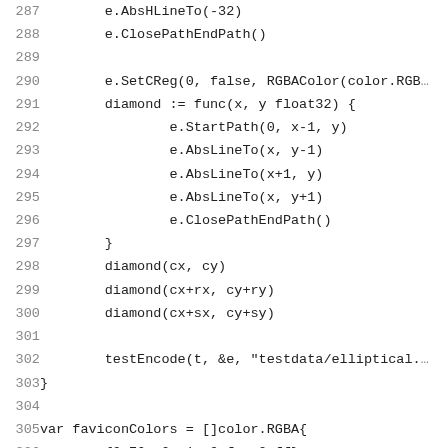[Figure (screenshot): Source code listing showing Go code with line numbers 287-307. Lines include path drawing operations, a diamond function definition, and a faviconColors variable declaration.]